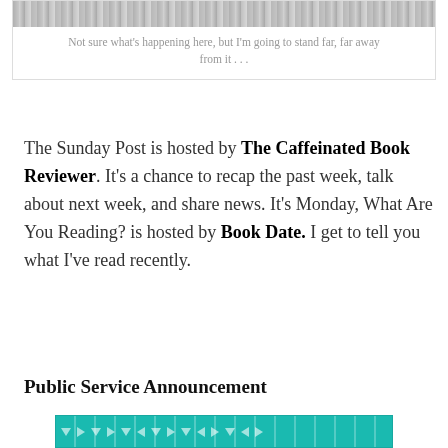[Figure (illustration): Black and white illustration/sketch at top, partially cropped]
Not sure what’s happening here, but I’m going to stand far, far away from it . . .
The Sunday Post is hosted by The Caffeinated Book Reviewer. It’s a chance to recap the past week, talk about next week, and share news. It’s Monday, What Are You Reading? is hosted by Book Date. I get to tell you what I’ve read recently.
Public Service Announcement
[Figure (illustration): Teal/turquoise patterned banner image with small triangle arrows]